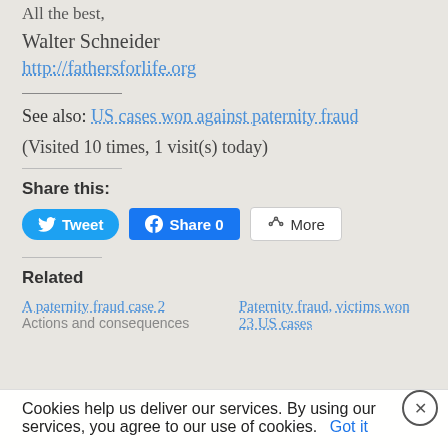All the best,
Walter Schneider
http://fathersforlife.org
See also: US cases won against paternity fraud
(Visited 10 times, 1 visit(s) today)
Share this:
[Figure (infographic): Social share buttons: Tweet (Twitter), Share 0 (Facebook), More]
Related
A paternity fraud case 2
Actions and consequences
Paternity fraud, victims won 23 US cases
Cookies help us deliver our services. By using our services, you agree to our use of cookies. Got it